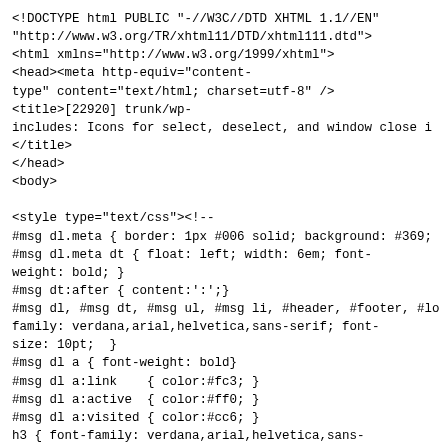<!DOCTYPE html PUBLIC "-//W3C//DTD XHTML 1.1//EN"
"http://www.w3.org/TR/xhtml11/DTD/xhtml111.dtd">
<html xmlns="http://www.w3.org/1999/xhtml">
<head><meta http-equiv="content-
type" content="text/html; charset=utf-8" />
<title>[22920] trunk/wp-
includes: Icons for select, deselect, and window close i
</title>
</head>
<body>

<style type="text/css"><!--
#msg dl.meta { border: 1px #006 solid; background: #369;
#msg dl.meta dt { float: left; width: 6em; font-
weight: bold; }
#msg dt:after { content:':';}
#msg dl, #msg dt, #msg ul, #msg li, #header, #footer, #lo
family: verdana,arial,helvetica,sans-serif; font-
size: 10pt;  }
#msg dl a { font-weight: bold}
#msg dl a:link    { color:#fc3; }
#msg dl a:active  { color:#ff0; }
#msg dl a:visited { color:#cc6; }
h3 { font-family: verdana,arial,helvetica,sans-
serif; font-size: 10pt; font-weight: bold; }
#msg pre { overflow: auto; background: #ffc; border: 1px
#logmsg { background: #ffc; border: 1px #fa0 solid; padd:
#logmsg p, #logmsg pre, #logmsg blockquote { margin: 0 0
#logmsg p, #logmsg li, #logmsg dt, #logmsg dd { line-
height: 14pt; }